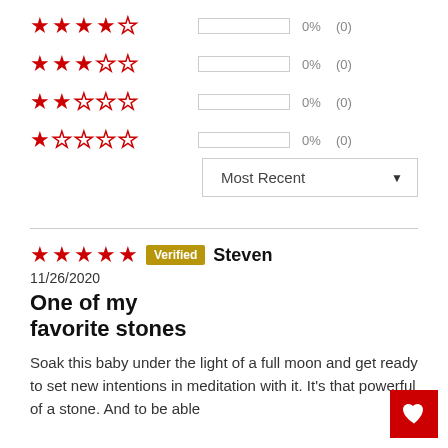4 stars: 0% (0)
3 stars: 0% (0)
2 stars: 0% (0)
1 star: 0% (0)
Most Recent ▼
★★★★★ Verified Steven
11/26/2020
One of my favorite stones
Soak this baby under the light of a full moon and get ready to set new intentions in meditation with it. It's that powerful of a stone. And to be able